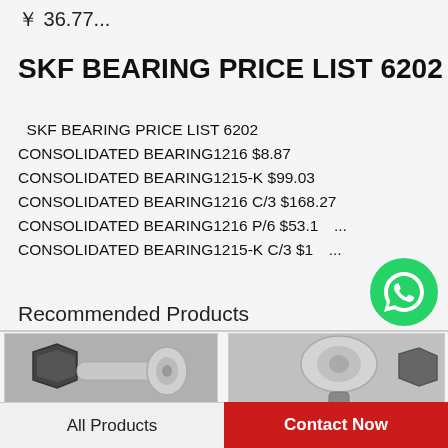￥ 36.77...
SKF BEARING PRICE LIST 6202
SKF BEARING PRICE LIST 6202
CONSOLIDATED BEARING1216 $8.87
CONSOLIDATED BEARING1215-K $99.03
CONSOLIDATED BEARING1216 C/3 $168.27
CONSOLIDATED BEARING1216 P/6 $53.1...
CONSOLIDATED BEARING1215-K C/3 $1...
[Figure (other): WhatsApp green circle icon with phone handset]
WhatsApp Online
Recommended Products
[Figure (photo): Close-up photo of a cam follower bearing with hex nut, metallic silver and dark finish]
[Figure (photo): Close-up photo of a cam follower bearing, silver metallic finish]
All Products
Contact Now